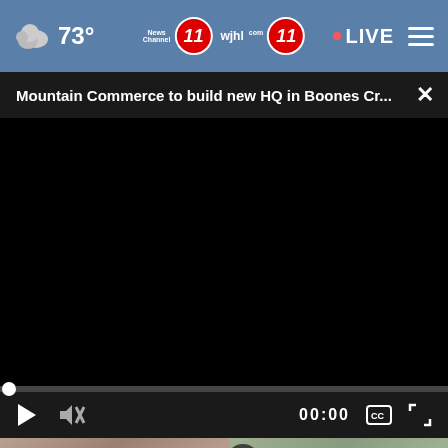73° News Channel 11 wjhl.com 11 LIVE
Mountain Commerce to build new HQ in Boones Cr...
[Figure (screenshot): Black video player area, currently showing no content (black screen)]
00:00
[Figure (photo): Thumbnail strip showing partial view of two images side by side. Left image shows a person's face, right image shows what appears to be a vehicle or structure outdoors.]
[Figure (infographic): Advertisement banner for Second Harvest Food Bank - TRI-CITIES STRONG, with orange gradient text and arrow logo, bordered in red]